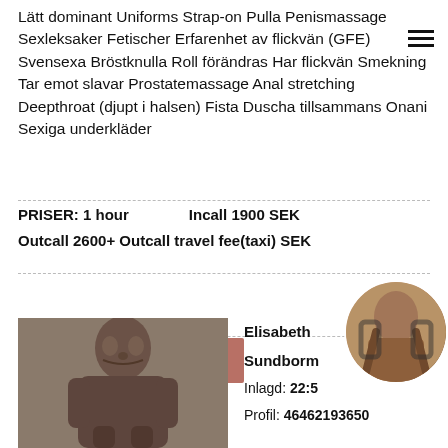Lätt dominant Uniforms Strap-on Pulla Penismassage Sexleksaker Fetischer Erfarenhet av flickvän (GFE) Svensexa Bröstknulla Roll förändras Har flickvän Smekning Tar emot slavar Prostatemassage Anal stretching Deepthroat (djupt i halsen) Fista Duscha tillsammans Onani Sexiga underkläder
PRISER: 1 hour   Incall 1900 SEK
Outcall 2600+ Outcall travel fee(taxi) SEK
Prioritetsannons
[Figure (photo): Portrait photo of a young woman with long dark hair]
Elisabeth Sundborm
Inlagd: 22:5
Profil: 46462193650
[Figure (photo): Circular cropped photo showing a person]